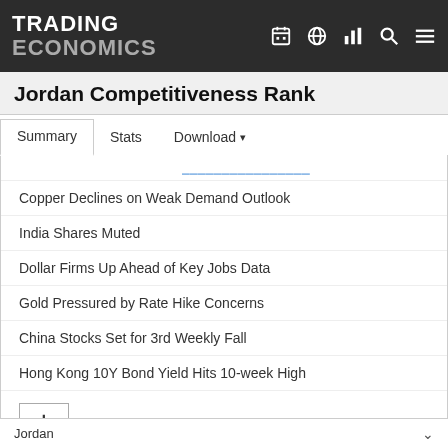TRADING ECONOMICS
Jordan Competitiveness Rank
Summary | Stats | Download
Copper Declines on Weak Demand Outlook
India Shares Muted
Dollar Firms Up Ahead of Key Jobs Data
Gold Pressured by Rate Hike Concerns
China Stocks Set for 3rd Weekly Fall
Hong Kong 10Y Bond Yield Hits 10-week High
Jordan